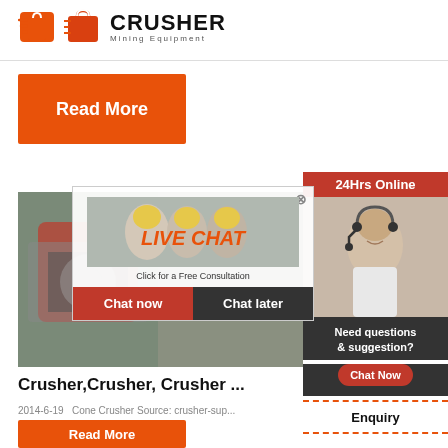[Figure (logo): Crusher Mining Equipment logo with red shopping bag icon and bold CRUSHER text]
[Figure (other): Orange Read More button]
[Figure (other): Live Chat popup overlay with workers in yellow hard hats, red LIVE CHAT text, Chat now and Chat later buttons]
[Figure (photo): Photo of crusher mining equipment in a factory setting]
Crusher,Crusher, Crusher ...
2014-6-19   Cone Crusher Source: crusher-sup...
[Figure (other): Orange Read More button at bottom]
[Figure (other): Right sidebar with 24Hrs Online banner, customer service agent photo, Need questions & suggestion? Chat Now, Enquiry section, and limingjlmofen@sina.com email]